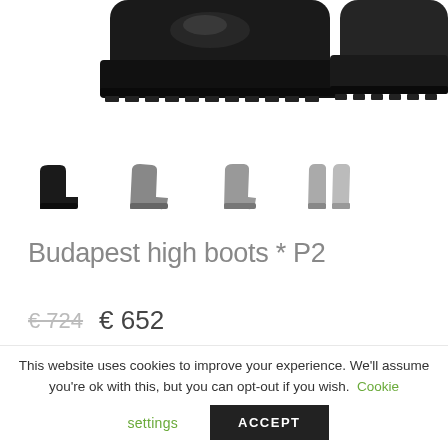[Figure (photo): Top portion of black leather high boots shown from above, cut off at the ankles, with thick rubber soles visible]
[Figure (photo): Four thumbnail images of the same black high boot from different angles: side view (dark), side angled view (gray), front angled view (gray), and front/back view (gray)]
Budapest high boots * P2
€ 724  € 652
This website uses cookies to improve your experience. We'll assume you're ok with this, but you can opt-out if you wish. Cookie settings ACCEPT